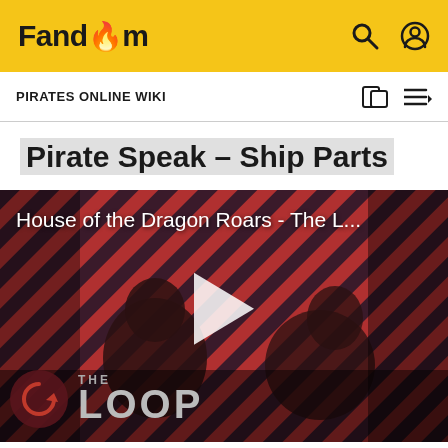Fandom
PIRATES ONLINE WIKI
Pirate Speak - Ship Parts
[Figure (screenshot): Video thumbnail for 'House of the Dragon Roars - The L...' showing two characters from House of the Dragon against a diagonal red and dark striped background, with a play button in the center and 'THE LOOP' logo in the bottom left corner.]